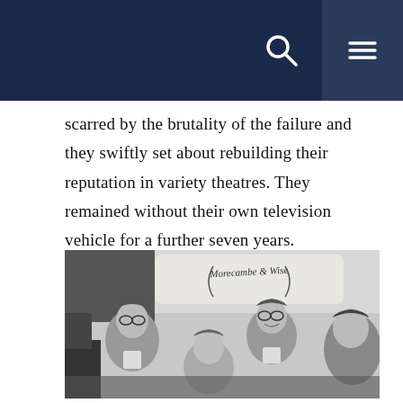scarred by the brutality of the failure and they swiftly set about rebuilding their reputation in variety theatres. They remained without their own television vehicle for a further seven years.
[Figure (photo): Black and white photograph of several men gathered together, with writing on a board behind them reading 'Morecambe & Wise']